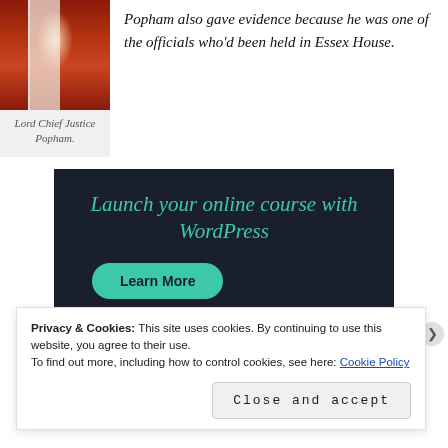Popham also gave evidence because he was one of the officials who'd been held in Essex House.
Lord Chief Justice Popham.
[Figure (illustration): Portrait painting of Lord Chief Justice Popham wearing red robes and a white veil/coif headpiece.]
[Figure (infographic): Dark navy advertisement banner reading 'Launch your online course with WordPress' with a teal 'Learn More' button.]
Privacy & Cookies: This site uses cookies. By continuing to use this website, you agree to their use.
To find out more, including how to control cookies, see here: Cookie Policy
Close and accept